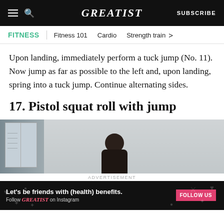GREATIST | SUBSCRIBE
FITNESS | Fitness 101 | Cardio | Strength train
Upon landing, immediately perform a tuck jump (No. 11). Now jump as far as possible to the left and, upon landing, spring into a tuck jump. Continue alternating sides.
17. Pistol squat roll with jump
[Figure (photo): Person performing exercise in a room with a window showing a building outside]
ADVERTISEMENT
Let's be friends with (health) benefits. Follow GREATIST on Instagram FOLLOW US